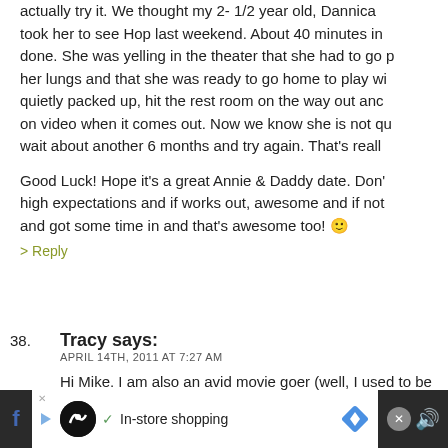actually try it. We thought my 2-1/2 year old, Dannica took her to see Hop last weekend. About 40 minutes in done. She was yelling in the theater that she had to go p her lungs and that she was ready to go home to play wi quietly packed up, hit the rest room on the way out anc on video when it comes out. Now we know she is not qu wait about another 6 months and try again. That's reall Good Luck! Hope it's a great Annie & Daddy date. Don' high expectations and if works out, awesome and if not and got some time in and that's awesome too! 🙂
> Reply
38. Tracy says:
APRIL 14TH, 2011 AT 7:27 AM
Hi Mike. I am also an avid movie goer (well, I used to be excited to take my son (now 5.5) to his first movie. Tech movie was a "Mommy & Me" matinee at 2 months whic slept through. He wasn't so much about "The Constant
[Figure (screenshot): Advertisement bar at the bottom with dark background showing in-store shopping ad with icons]